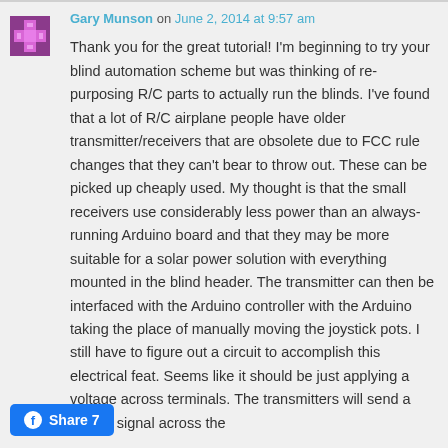Gary Munson on June 2, 2014 at 9:57 am
Thank you for the great tutorial! I'm beginning to try your blind automation scheme but was thinking of re-purposing R/C parts to actually run the blinds. I've found that a lot of R/C airplane people have older transmitter/receivers that are obsolete due to FCC rule changes that they can't bear to throw out. These can be picked up cheaply used. My thought is that the small receivers use considerably less power than an always-running Arduino board and that they may be more suitable for a solar power solution with everything mounted in the blind header. The transmitter can then be interfaced with the Arduino controller with the Arduino taking the place of manually moving the joystick pots. I still have to figure out a circuit to accomplish this electrical feat. Seems like it should be just applying a voltage across terminals. The transmitters will send a usable signal across the